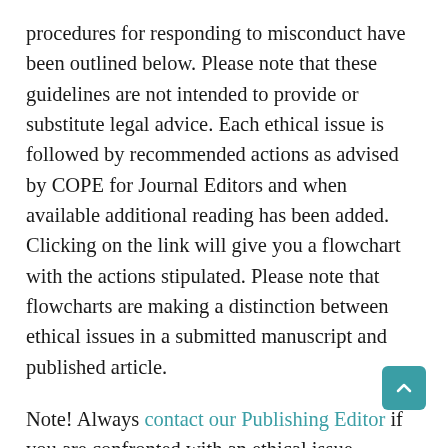procedures for responding to misconduct have been outlined below. Please note that these guidelines are not intended to provide or substitute legal advice. Each ethical issue is followed by recommended actions as advised by COPE for Journal Editors and when available additional reading has been added. Clicking on the link will give you a flowchart with the actions stipulated. Please note that flowcharts are making a distinction between ethical issues in a submitted manuscript and published article.
Note! Always contact our Publishing Editor if you are confronted with an ethical issue.